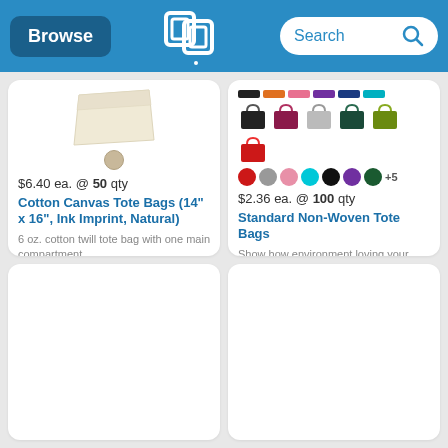Browse | [Logo] | Search
[Figure (screenshot): Product card: Cotton Canvas Tote Bag (natural color, folded) with one beige circle swatch. Price: $6.40 ea. @ 50 qty. Title: Cotton Canvas Tote Bags (14" x 16", Ink Imprint, Natural). Description: 6 oz. cotton twill tote bag with one main compartment.]
[Figure (screenshot): Product card: Standard Non-Woven Tote Bags shown in multiple colors (black, maroon, silver, teal/dark green, olive/lime, red) with color strips and circle swatches (red, gray, pink, cyan, black, purple, dark green, +5). Price: $2.36 ea. @ 100 qty. Description: Show how environment loving your brand is with our reusable and recyclable Standard Non-woven...]
[Figure (screenshot): Empty product card (partial, bottom row left)]
[Figure (screenshot): Empty product card (partial, bottom row right)]